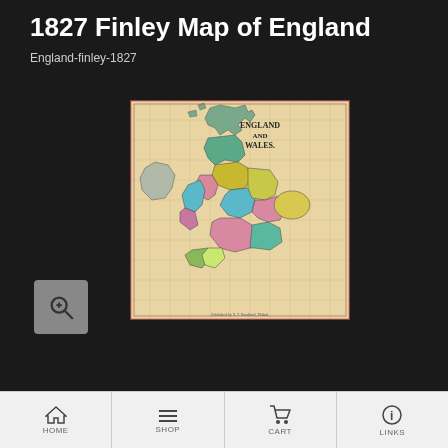1827 Finley Map of England
England-finley-1827
[Figure (map): 1827 Finley historical map of England and Wales, showing counties in different colors (green, yellow, pink, teal). The map includes Scotland to the north, Ireland to the west, and surrounding seas. Title on map reads 'ENGLAND AND WALES'.]
[Figure (other): Zoom/magnify button icon (magnifying glass with plus sign) on a grey square background]
HOME   SHOP   CART   LINKS